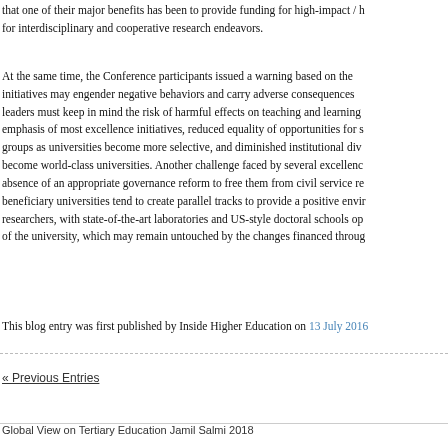that one of their major benefits has been to provide funding for high-impact / h for interdisciplinary and cooperative research endeavors.
At the same time, the Conference participants issued a warning based on the initiatives may engender negative behaviors and carry adverse consequences leaders must keep in mind the risk of harmful effects on teaching and learning emphasis of most excellence initiatives, reduced equality of opportunities for s groups as universities become more selective, and diminished institutional div become world-class universities. Another challenge faced by several excellenc absence of an appropriate governance reform to free them from civil service re beneficiary universities tend to create parallel tracks to provide a positive envir researchers, with state-of-the-art laboratories and US-style doctoral schools op of the university, which may remain untouched by the changes financed throug
This blog entry was first published by Inside Higher Education on 13 July 2016
« Previous Entries
Global View on Tertiary Education Jamil Salmi 2018